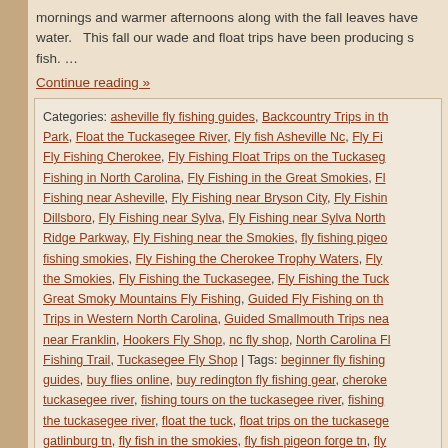mornings and warmer afternoons along with the fall leaves have water. This fall our wade and float trips have been producing s fish. …
Continue reading »
Categories: asheville fly fishing guides, Backcountry Trips in the Park, Float the Tuckasegee River, Fly fish Asheville Nc, Fly Fishing Cherokee, Fly Fishing Float Trips on the Tuckasegee, Fishing in North Carolina, Fly Fishing in the Great Smokies, Fly Fishing near Asheville, Fly Fishing near Bryson City, Fly Fishing near Dillsboro, Fly Fishing near Sylva, Fly Fishing near Sylva North Ridge Parkway, Fly Fishing near the Smokies, fly fishing pigeon, fishing smokies, Fly Fishing the Cherokee Trophy Waters, Fly the Smokies, Fly Fishing the Tuckasegee, Fly Fishing the Tuck, Great Smoky Mountains Fly Fishing, Guided Fly Fishing on the Trips in Western North Carolina, Guided Smallmouth Trips near, near Franklin, Hookers Fly Shop, nc fly shop, North Carolina Fly Fishing Trail, Tuckasegee Fly Shop | Tags: beginner fly fishing guides, buy flies online, buy redington fly fishing gear, cherokee tuckasegee river, fishing tours on the tuckasegee river, fishing the tuckasegee river, float the tuck, float trips on the tuckasegee, gatlinburg tn, fly fish in the smokies, fly fish pigeon forge tn, fly river, fly fishing, fly fishing gear online, fly fishing guides for ca, fishing near atlanta ga, fly fishing near charlotte nc, fly fishing smoky mountains fishing guides, gamnn, smokies smoke…